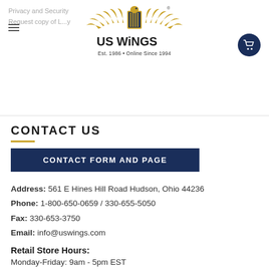Privacy and Security
Request copy of L...y
[Figure (logo): US Wings logo with eagle, text 'US WINGS', tagline 'Est. 1986 • Online Since 1994']
CONTACT US
CONTACT FORM AND PAGE
Address: 561 E Hines Hill Road Hudson, Ohio 44236
Phone: 1-800-650-0659 / 330-655-5050
Fax: 330-653-3750
Email: info@uswings.com
Retail Store Hours:
Monday-Friday: 9am - 5pm EST
Saturdays: 10am -3pm (Sept-Feb)